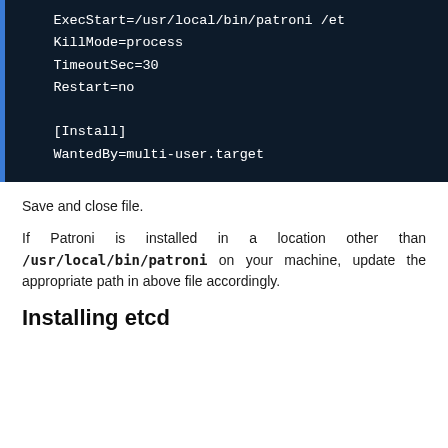[Figure (screenshot): Dark-themed code block showing systemd service file snippet with ExecStart=/usr/local/bin/patroni /et, KillMode=process, TimeoutSec=30, Restart=no, [Install], WantedBy=multi-user.target]
Save and close file.
If Patroni is installed in a location other than /usr/local/bin/patroni on your machine, update the appropriate path in above file accordingly.
Installing etcd